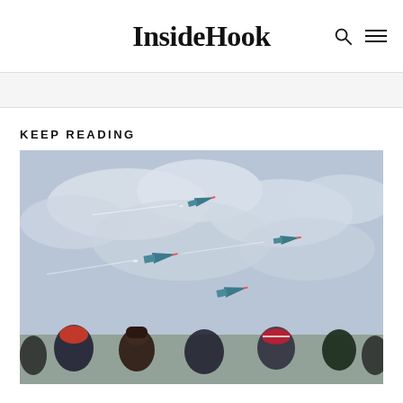InsideHook
KEEP READING
[Figure (photo): Four USAF Thunderbirds fighter jets flying in formation over a crowd of spectators watching from below, against a cloudy sky]